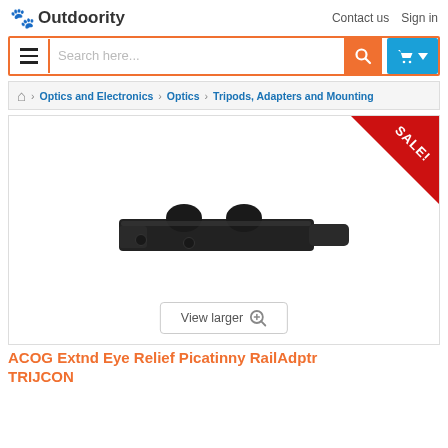Outdoority | Contact us  Sign in
[Figure (screenshot): Search bar with hamburger menu button, orange search icon, and blue cart button]
[Figure (screenshot): Breadcrumb navigation: Home > Optics and Electronics > Optics > Tripods, Adapters and Mounting]
[Figure (photo): ACOG Extended Eye Relief Picatinny Rail Adapter product photo on white background with red SALE! corner banner. View larger button at bottom.]
ACOG Extnd Eye Relief Picatinny RailAdptr TRIJCON